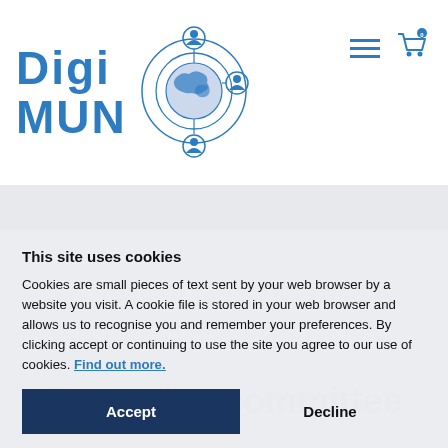[Figure (logo): DigiMUN logo with blue text 'DigiMUN' and globe/network icon, plus hamburger menu and cart icon]
Executive committee
This site uses cookies
Cookies are small pieces of text sent by your web browser by a website you visit. A cookie file is stored in your web browser and allows us to recognise you and remember your preferences. By clicking accept or continuing to use the site you agree to our use of cookies. Find out more.
Accept
Decline
Manage settings